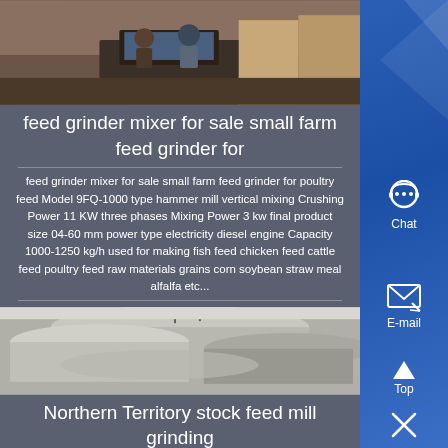[Figure (photo): Two people working at a computer/machinery setup indoors]
feed grinder mixer for sale small farm feed grinder for
feed grinder mixer for sale small farm feed grinder for poultry feed Model 9FQ-1000 type hammer mill vertical mixing Crushing Power 11 KW three phases Mixing Power 3 kw final product size 04-60 mm power type electricity diesel engine Capacity 1000-1250 kg/h used for making fish feed chicken feed cattle feed poultry feed raw materials grains corn soybean straw meal alfalfa etc...
[Figure (photo): Industrial storage tanks or silos viewed from above/side, grey/white curved surfaces]
Northern Territory stock feed mill grinding